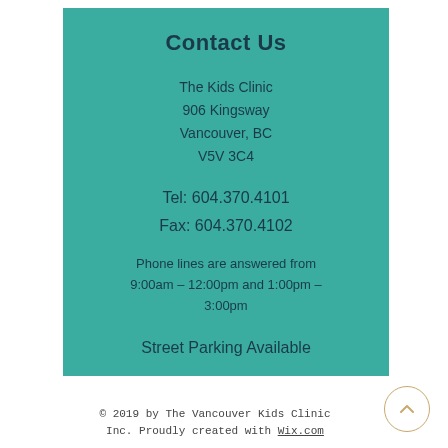Contact Us
The Kids Clinic
906 Kingsway
Vancouver, BC
V5V 3C4
Tel: 604.370.4101
Fax: 604.370.4102
Phone lines are answered from 9:00am - 12:00pm and 1:00pm - 3:00pm
Street Parking Available
© 2019 by The Vancouver Kids Clinic Inc. Proudly created with Wix.com